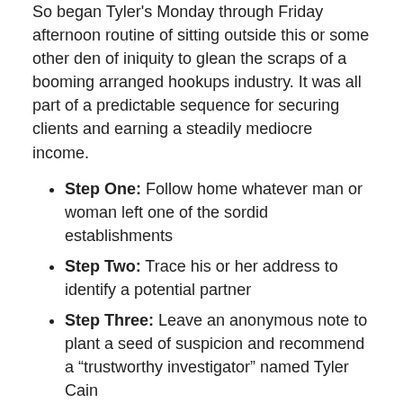So began Tyler's Monday through Friday afternoon routine of sitting outside this or some other den of iniquity to glean the scraps of a booming arranged hookups industry. It was all part of a predictable sequence for securing clients and earning a steadily mediocre income.
Step One: Follow home whatever man or woman left one of the sordid establishments
Step Two: Trace his or her address to identify a potential partner
Step Three: Leave an anonymous note to plant a seed of suspicion and recommend a “trustworthy investigator” named Tyler Cain
Step Four: Wait for the phone to ring
The process had kept Tyler so busy he no longer bothered asking his former supervising detective for legitimate investigation leads.
Business is great, he would boast when asked. More work than I can handle paying me more than I